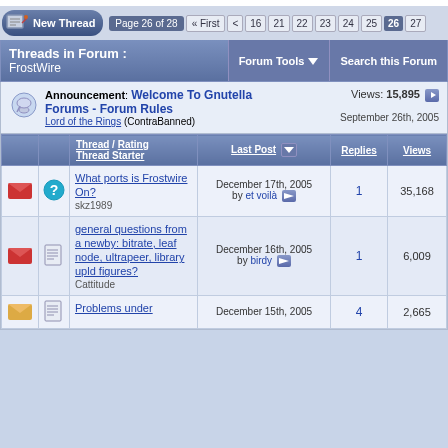Page 26 of 28 « First < 16 21 22 23 24 25 26 27
Threads in Forum : FrostWire | Forum Tools | Search this Forum
Announcement: Welcome To Gnutella Forums - Forum Rules by Lord of the Rings (ContraBanned) — Views: 15,895 — September 26th, 2005
|  |  | Thread / Rating Thread Starter | Last Post | Replies | Views |
| --- | --- | --- | --- | --- | --- |
|  |  | What ports is Frostwire On? skz1989 | December 17th, 2005 by et voilà | 1 | 35,168 |
|  |  | general questions from a newby: bitrate, leaf node, ultrapeer, library upld figures? Cattitude | December 16th, 2005 by birdy | 1 | 6,009 |
|  |  | Problems under | December 15th, 2005 | 4 | 2,665 |